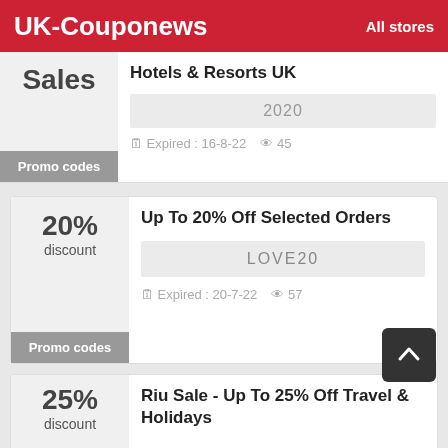UK-Couponews  All stores
Sales | Hotels & Resorts UK | Promo codes | 2020 | Expired: 16-8-22 | 45 views
20% discount | Up To 20% Off Selected Orders | Promo codes | LOVE20 | Expired: 20-7-22 | 57 views
25% discount | Riu Sale - Up To 25% Off Travel & Holidays